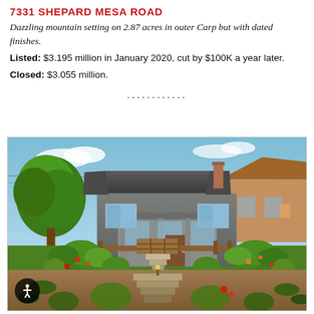7331 SHEPARD MESA ROAD
Dazzling mountain setting on 2.87 acres in outer Carp but with dated finishes.
Listed: $3.195 million in January 2020, cut by $100K a year later.
Closed: $3.055 million.
...........
[Figure (photo): Exterior photo of a Craftsman-style house with lush garden landscaping, wooden gate, steps leading to the front door, large trees on the left, blue sky in the background.]